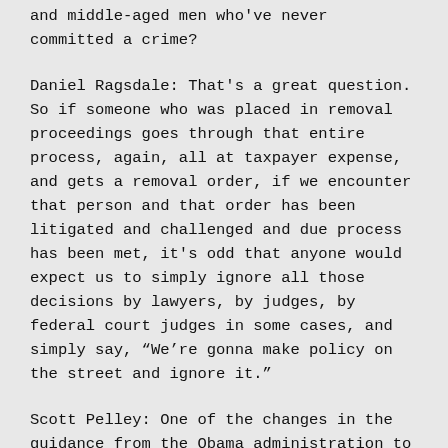and middle-aged men who've never committed a crime?
Daniel Ragsdale: That's a great question. So if someone who was placed in removal proceedings goes through that entire process, again, all at taxpayer expense, and gets a removal order, if we encounter that person and that order has been litigated and challenged and due process has been met, it's odd that anyone would expect us to simply ignore all those decisions by lawyers, by judges, by federal court judges in some cases, and simply say, “We’re gonna make policy on the street and ignore it.”
Scott Pelley: One of the changes in the guidance from the Obama administration to the Trump administration is that President Trump's executive order prioritizes the removal of those who entered illegally. Well, that's